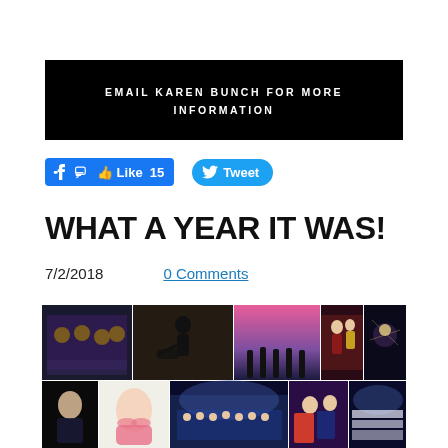[Figure (infographic): Black banner with white bold uppercase text: EMAIL KAREN BUNCH FOR MORE INFORMATION]
[Figure (infographic): Facebook Like button showing 15 likes and Twitter Tweet button]
WHAT A YEAR IT WAS!
7/2/2018    0 Comments
[Figure (photo): Photo collage of various performing arts events — orchestras, musicians, dancers, performers on stage]